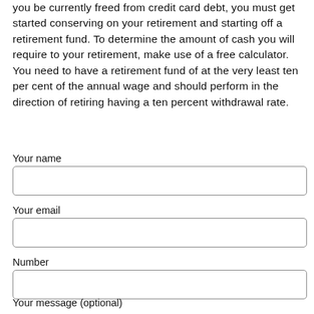you be currently freed from credit card debt, you must get started conserving on your retirement and starting off a retirement fund. To determine the amount of cash you will require to your retirement, make use of a free calculator. You need to have a retirement fund of at the very least ten per cent of the annual wage and should perform in the direction of retiring having a ten percent withdrawal rate.
Your name
Your email
Number
Your message (optional)